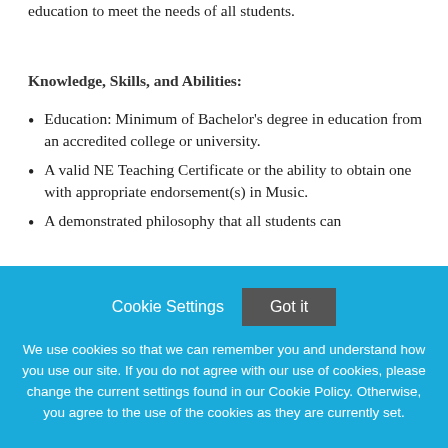education to meet the needs of all students.
Knowledge, Skills, and Abilities:
Education: Minimum of Bachelor's degree in education from an accredited college or university.
A valid NE Teaching Certificate or the ability to obtain one with appropriate endorsement(s) in Music.
A demonstrated philosophy that all students can
Cookie Settings   Got it

We use cookies so that we can remember you and understand how you use our site. If you do not agree with our use of cookies, please change the current settings found in our Cookie Policy. Otherwise, you agree to the use of the cookies as they are currently set.